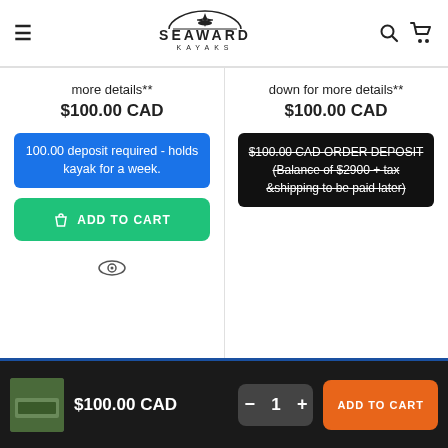[Figure (logo): Seaward Kayaks logo with compass rose and stylized text]
more details**
$100.00 CAD
100.00 deposit required - holds kayak for a week.
ADD TO CART
[Figure (other): Eye/view icon]
down for more details**
$100.00 CAD
$100.00 CAD ORDER DEPOSIT (Balance of $2900 + tax &shipping to be paid later)
$100.00 CAD
1
ADD TO CART